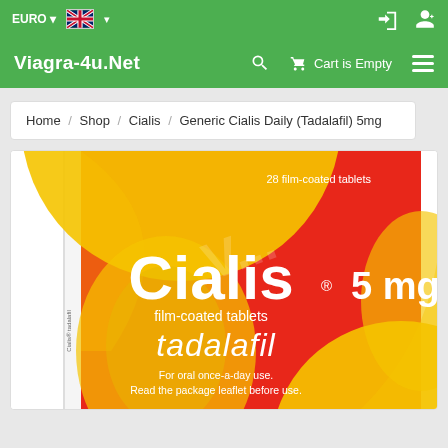EURO | [UK Flag] | [Login] [Register]
Viagra-4u.Net | [Search] | Cart is Empty | [Menu]
Home / Shop / Cialis / Generic Cialis Daily (Tadalafil) 5mg
[Figure (photo): Photo of Cialis 5mg box (Generic Cialis Daily Tadalafil). Red and yellow packaging showing '28 film-coated tablets', 'Cialis 5mg', 'film-coated tablets', 'tadalafil', 'For oral once-a-day use. Read the package leaflet before use.' with a watermark overlay.]